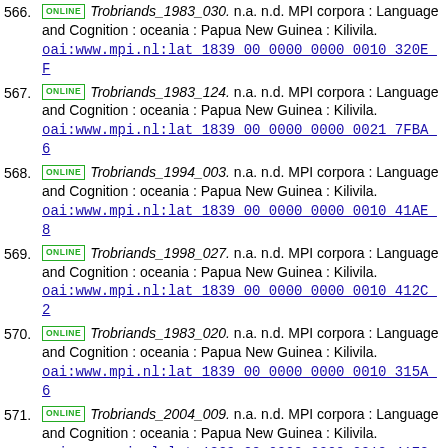566. ONLINE Trobriands_1983_030. n.a. n.d. MPI corpora : Language and Cognition : oceania : Papua New Guinea : Kilivila. oai:www.mpi.nl:lat_1839_00_0000_0000_0010_320E_F
567. ONLINE Trobriands_1983_124. n.a. n.d. MPI corpora : Language and Cognition : oceania : Papua New Guinea : Kilivila. oai:www.mpi.nl:lat_1839_00_0000_0000_0021_7FBA_6
568. ONLINE Trobriands_1994_003. n.a. n.d. MPI corpora : Language and Cognition : oceania : Papua New Guinea : Kilivila. oai:www.mpi.nl:lat_1839_00_0000_0000_0010_41AE_8
569. ONLINE Trobriands_1998_027. n.a. n.d. MPI corpora : Language and Cognition : oceania : Papua New Guinea : Kilivila. oai:www.mpi.nl:lat_1839_00_0000_0000_0010_412C_2
570. ONLINE Trobriands_1983_020. n.a. n.d. MPI corpora : Language and Cognition : oceania : Papua New Guinea : Kilivila. oai:www.mpi.nl:lat_1839_00_0000_0000_0010_315A_6
571. ONLINE Trobriands_2004_009. n.a. n.d. MPI corpora : Language and Cognition : oceania : Papua New Guinea : Kilivila. oai:www.mpi.nl:lat_1839_00_0000_0000_0010_417C_5
572. ONLINE Trobriands_1989_011. n.a. n.d. MPI corpora : Language and Cognition : oceania : Papua New Guinea : Kilivila. oai:www.mpi.nl:lat_1839_00_0000_0000_0010_2D0E_8
573. ONLINE Trobriands_1997_001. n.a. n.d. MPI corpora : Language and Cognition :...